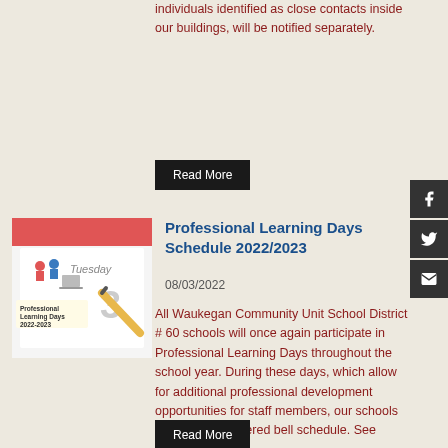individuals identified as close contacts inside our buildings, will be notified separately.
Read More
[Figure (illustration): Calendar image with figures of people, labeled Professional Learning Days 2022-2023, showing Tuesday and the number 3]
Professional Learning Days Schedule 2022/2023
08/03/2022
All Waukegan Community Unit School District # 60 schools will once again participate in Professional Learning Days throughout the school year. During these days, which allow for additional professional development opportunities for staff members, our schools will run on an altered bell schedule. See schedule here.
Read More